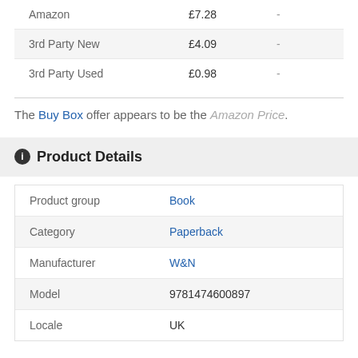|  | Price |  |
| --- | --- | --- |
| Amazon | £7.28 | - |
| 3rd Party New | £4.09 | - |
| 3rd Party Used | £0.98 | - |
The Buy Box offer appears to be the Amazon Price.
Product Details
|  |  |
| --- | --- |
| Product group | Book |
| Category | Paperback |
| Manufacturer | W&N |
| Model | 9781474600897 |
| Locale | UK |